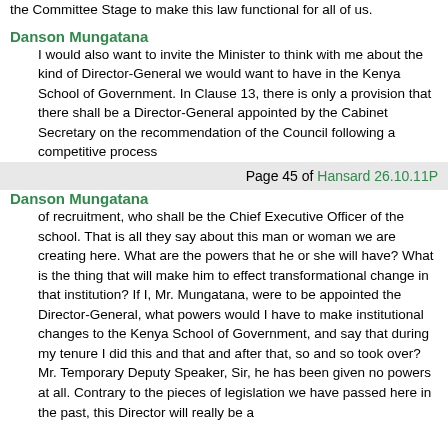the Committee Stage to make this law functional for all of us.
Danson Mungatana
I would also want to invite the Minister to think with me about the kind of Director-General we would want to have in the Kenya School of Government. In Clause 13, there is only a provision that there shall be a Director-General appointed by the Cabinet Secretary on the recommendation of the Council following a competitive process
Page 45 of Hansard 26.10.11P
Danson Mungatana
of recruitment, who shall be the Chief Executive Officer of the school. That is all they say about this man or woman we are creating here. What are the powers that he or she will have? What is the thing that will make him to effect transformational change in that institution? If I, Mr. Mungatana, were to be appointed the Director-General, what powers would I have to make institutional changes to the Kenya School of Government, and say that during my tenure I did this and that and after that, so and so took over? Mr. Temporary Deputy Speaker, Sir, he has been given no powers at all. Contrary to the pieces of legislation we have passed here in the past, this Director will really be a